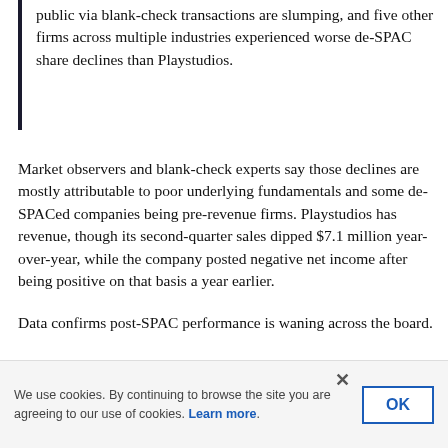public via blank-check transactions are slumping, and five other firms across multiple industries experienced worse de-SPAC share declines than Playstudios.
Market observers and blank-check experts say those declines are mostly attributable to poor underlying fundamentals and some de-SPACed companies being pre-revenue firms. Playstudios has revenue, though its second-quarter sales dipped $7.1 million year-over-year, while the company posted negative net income after being positive on that basis a year earlier.
Data confirms post-SPAC performance is waning across the board.
“Since the IPOX SPAC Index peaked on Feb. 17, it has lost
We use cookies. By continuing to browse the site you are agreeing to our use of cookies. Learn more.